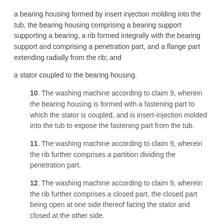a bearing housing formed by insert injection molding into the tub, the bearing housing comprising a bearing support supporting a bearing, a rib formed integrally with the bearing support and comprising a penetration part, and a flange part extending radially from the rib; and
a stator coupled to the bearing housing.
10. The washing machine according to claim 9, wherein the bearing housing is formed with a fastening part to which the stator is coupled, and is insert-injection molded into the tub to expose the fastening part from the tub.
11. The washing machine according to claim 9, wherein the rib further comprises a partition dividing the penetration part.
12. The washing machine according to claim 9, wherein the rib further comprises a closed part, the closed part being open at one side thereof facing the stator and closed at the other side.
13. The washing machine according to claim 12, wherein